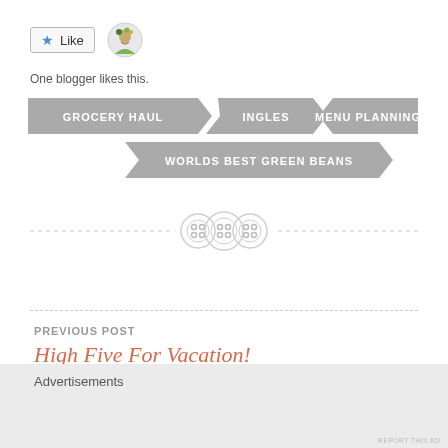[Figure (other): Like button with star icon and small avatar illustration]
One blogger likes this.
GROCERY HAUL
INGLES
MENU PLANNING
WORLDS BEST GREEN BEANS
[Figure (illustration): Three decorative button icons on a dashed horizontal divider line]
PREVIOUS POST
High Five For Vacation!
NEXT POST
Advertisements